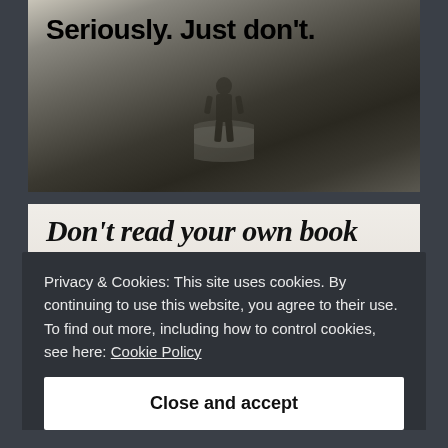[Figure (photo): Dark foggy scene with a silhouette of a person walking away, with text overlay 'Seriously. Just don't.' in bold black at the top]
[Figure (photo): Light background image strip with bold italic text 'Don't read your own book']
Privacy & Cookies: This site uses cookies. By continuing to use this website, you agree to their use.
To find out more, including how to control cookies, see here: Cookie Policy
Close and accept